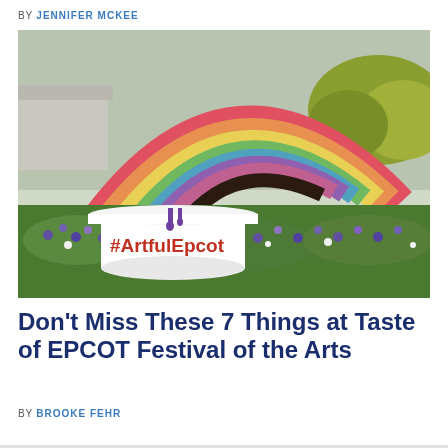BY JENNIFER MCKEE
[Figure (photo): Outdoor scene at EPCOT showing a large colorful rainbow arch sculpture and a white cylindrical sign reading #ArtfulEpcot, surrounded by purple and white flowers with trees in the background.]
Don't Miss These 7 Things at Taste of EPCOT Festival of the Arts
BY BROOKE FEHR